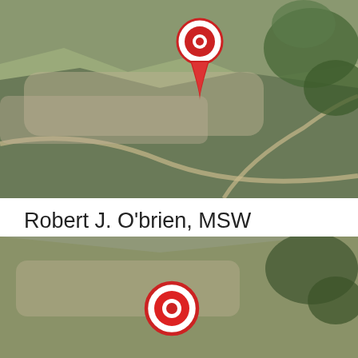[Figure (map): Aerial/satellite map view with a red location pin marker pointing to a location near Petoskey, MI. Terrain shows fields, roads, and some green vegetation.]
Robert J. O'brien, MSW
Establishment   Health   Doctor
1 Macdonald Drive, Petoskey, MI 49770, Petoskey, Petoskey, MI 49770
+1 231-487-4694
[Figure (map): Second aerial/satellite map view with a red circular target/crosshair pin marker, same general area near Petoskey, MI.]